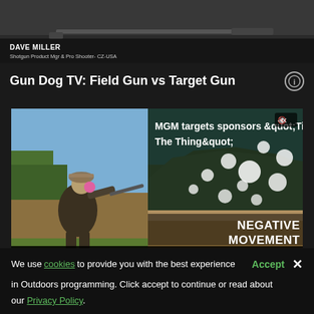[Figure (screenshot): Top strip showing Dave Miller, Shotgun Product Mgr & Pro Shooter- CZ-USA, with a rifle visible]
Gun Dog TV: Field Gun vs Target Gun
[Figure (screenshot): Video player showing a shooter at a range, with overlay ad for MGM targets sponsors 'Ting Is The Thing'. Video controls show 00:00 / 00:00. Bottom right shows 'NEGATIVE MOVEMENT' text.]
We use cookies to provide you with the best experience  Accept  × in Outdoors programming. Click accept to continue or read about our Privacy Policy.